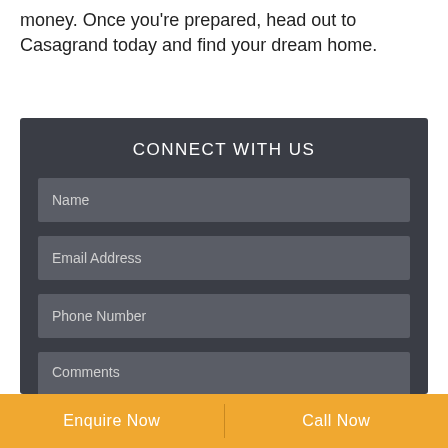money. Once you're prepared, head out to Casagrand today and find your dream home.
CONNECT WITH US
Name
Email Address
Phone Number
Comments
[Figure (illustration): Green WhatsApp phone icon button]
Enquire Now
Call Now